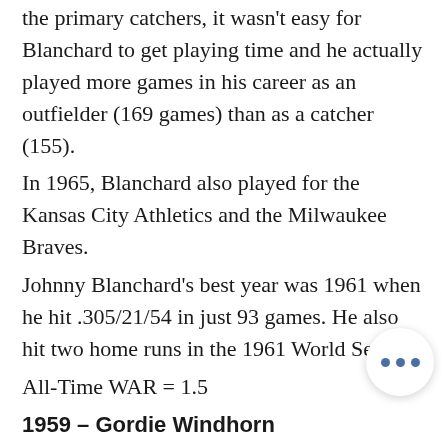the primary catchers, it wasn't easy for Blanchard to get playing time and he actually played more games in his career as an outfielder (169 games) than as a catcher (155).
In 1965, Blanchard also played for the Kansas City Athletics and the Milwaukee Braves.
Johnny Blanchard's best year was 1961 when he hit .305/21/54 in just 93 games. He also hit two home runs in the 1961 World Series.
All-Time WAR = 1.5
1959 – Gordie Windhorn
It is not too often that I come across a player for the Yankees who I never heard of.  Gordie Windhorn was one. An outfielder, he played all of seven games with the 1959 Yankees going 0-